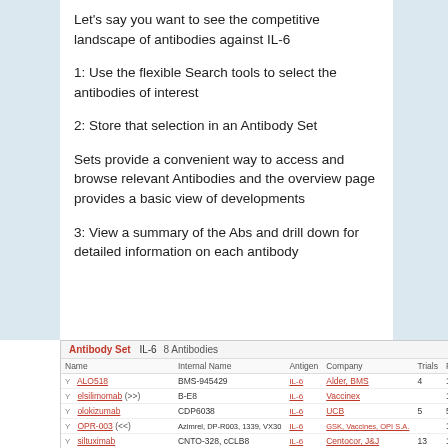Let's say you want to see the competitive landscape of antibodies against IL-6
1: Use the flexible Search tools to select the antibodies of interest
2: Store that selection in an Antibody Set
Sets provide a convenient way to access and browse relevant Antibodies and the overview page provides a basic view of developments
3: View a summary of the Abs and drill down for detailed information on each antibody
[Figure (screenshot): Screenshot of an Antibody Set page showing IL-6 antibodies including ALO518, elsilimomab, olokizumab, OPR-003, siltuximab, and Medarex patent anti-IL-6, with columns for Name, Internal Name, Antigen, Company, Trials, Patents, Papers, Activity]